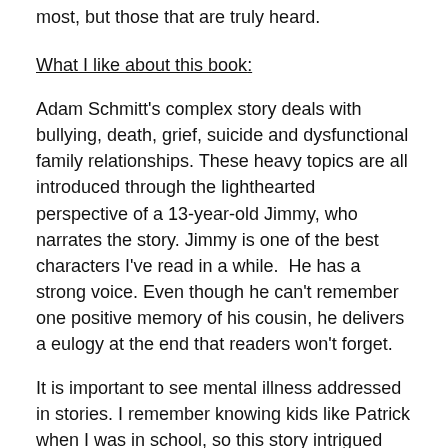most, but those that are truly heard.
What I like about this book:
Adam Schmitt's complex story deals with bullying, death, grief, suicide and dysfunctional family relationships. These heavy topics are all introduced through the lighthearted perspective of a 13-year-old Jimmy, who narrates the story. Jimmy is one of the best characters I've read in a while.  He has a strong voice. Even though he can't remember one positive memory of his cousin, he delivers a eulogy at the end that readers won't forget.
It is important to see mental illness addressed in stories. I remember knowing kids like Patrick when I was in school, so this story intrigued me from the start. I appreciate how carefully Schmitt develops his characters. He even makes me care about Patrick by the end of the story.